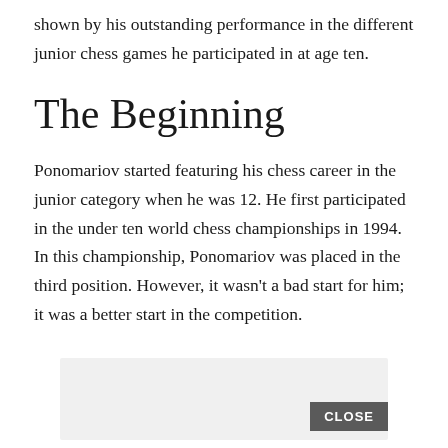shown by his outstanding performance in the different junior chess games he participated in at age ten.
The Beginning
Ponomariov started featuring his chess career in the junior category when he was 12. He first participated in the under ten world chess championships in 1994. In this championship, Ponomariov was placed in the third position. However, it wasn't a bad start for him; it was a better start in the competition.
[Figure (other): Advertisement box with a light gray background and a dark gray CLOSE button in the bottom right corner]